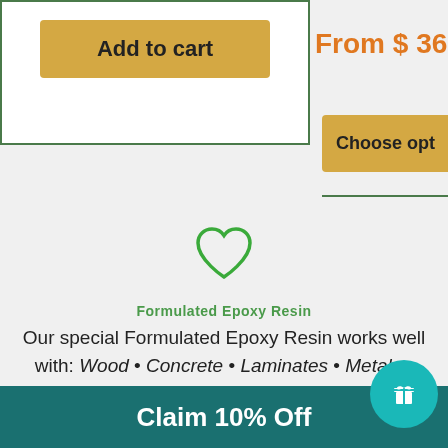[Figure (screenshot): Add to cart button inside a green-bordered white box]
From $ 36.97
[Figure (screenshot): Choose options button (gold/yellow, partially visible)]
[Figure (illustration): Green outlined heart icon]
Formulated Epoxy Resin
Our special Formulated Epoxy Resin works well with: Wood • Concrete • Laminates • Metals • Corks • Sand • Paper • Photos • Rocks • Marble • Steel • Granite • Ceramics And More
[Figure (illustration): Orange gift/hand icon]
[Figure (illustration): Teal circular reward badge with gift icon]
Claim 10% Off